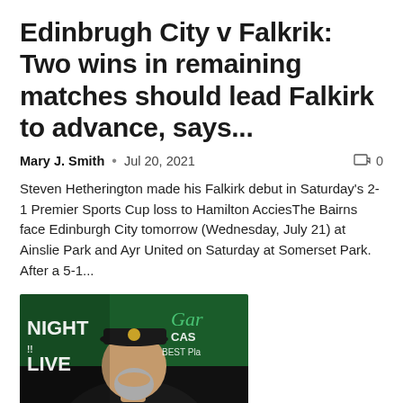Edinbrugh City v Falkrik: Two wins in remaining matches should lead Falkirk to advance, says...
Mary J. Smith  •  Jul 20, 2021   0
Steven Hetherington made his Falkirk debut in Saturday's 2-1 Premier Sports Cup loss to Hamilton AcciesThe Bairns face Edinburgh City tomorrow (Wednesday, July 21) at Ainslie Park and Ayr United on Saturday at Somerset Park. After a 5-1...
[Figure (photo): Man in black cap and black shirt seated in front of a green background with partial text 'NIGHT LIVE' on left and 'Gard CAS BEST Pla' on right]